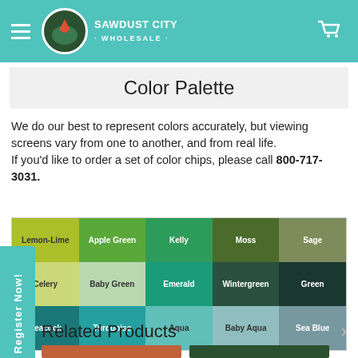Sawdust City Wholesale
Color Palette
We do our best to represent colors accurately, but viewing screens vary from one to another, and from real life. If you'd like to order a set of color chips, please call 800-717-3031.
[Figure (infographic): Color palette grid showing 15 color swatches in 3 rows of 5. Row 1: Lemon-Lime, Apple Green, Kelly, Moss, Sage. Row 2: Celery, Baby Green, Emerald, Wintergreen, Green. Row 3: Peacock, Turquoise, Aqua, Baby Aqua, Sea Blue.]
Related Products